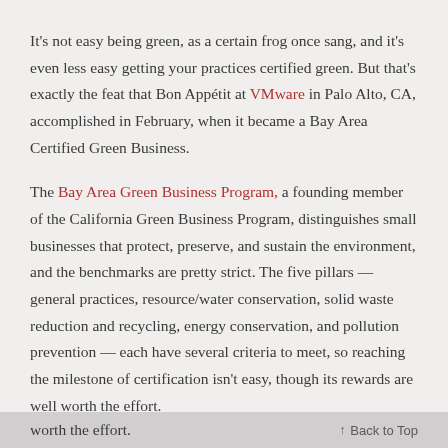It's not easy being green, as a certain frog once sang, and it's even less easy getting your practices certified green. But that's exactly the feat that Bon Appétit at VMware in Palo Alto, CA, accomplished in February, when it became a Bay Area Certified Green Business.
The Bay Area Green Business Program, a founding member of the California Green Business Program, distinguishes small businesses that protect, preserve, and sustain the environment, and the benchmarks are pretty strict. The five pillars —general practices, resource/water conservation, solid waste reduction and recycling, energy conservation, and pollution prevention — each have several criteria to meet, so reaching the milestone of certification isn't easy, though its rewards are well worth the effort.
worth the effort.    ↑  Back to Top